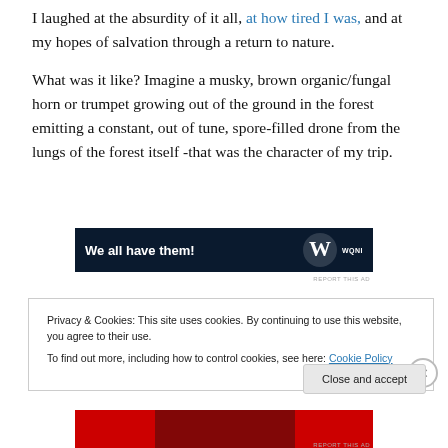I laughed at the absurdity of it all, at how tired I was, and at my hopes of salvation through a return to nature.
What was it like? Imagine a musky, brown organic/fungal horn or trumpet growing out of the ground in the forest emitting a constant, out of tune, spore-filled drone from the lungs of the forest itself -that was the character of my trip.
[Figure (other): Advertisement banner with dark navy background showing text 'We all have them!' with a stylized W logo and WQNI label]
REPORT THIS AD
Privacy & Cookies: This site uses cookies. By continuing to use this website, you agree to their use.
To find out more, including how to control cookies, see here: Cookie Policy
Close and accept
[Figure (photo): Bottom portion of a red advertisement banner partially visible]